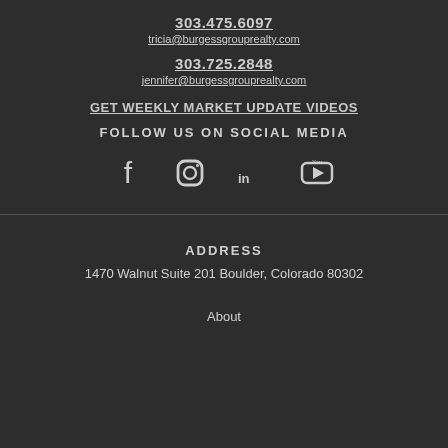303.475.6097
tricia@burgessgrouprealty.com
303.725.2848
jennifer@burgessgrouprealty.com
GET WEEKLY MARKET UPDATE VIDEOS
FOLLOW US ON SOCIAL MEDIA
[Figure (infographic): Social media icons: Facebook, Instagram, LinkedIn, YouTube]
ADDRESS
1470 Walnut Suite 201 Boulder, Colorado 80302
About